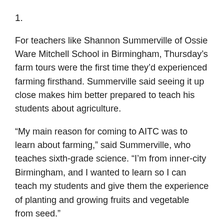1.
For teachers like Shannon Summerville of Ossie Ware Mitchell School in Birmingham, Thursday’s farm tours were the first time they’d experienced farming firsthand. Summerville said seeing it up close makes him better prepared to teach his students about agriculture.
“My main reason for coming to AITC was to learn about farming,” said Summerville, who teaches sixth-grade science. “I’m from inner-city Birmingham, and I wanted to learn so I can teach my students and give them the experience of planting and growing fruits and vegetable from seed.”
Rehobeth Elementary School Assistant Principal Dusty McKinley is no stranger to a farm but said